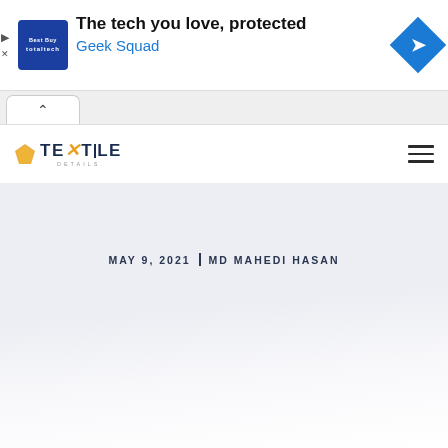[Figure (screenshot): Advertisement banner for Best Buy Geek Squad Total Tech protection service. Shows blue square logo with 'totaltech' text, headline 'The tech you love, protected', subheadline 'Geek Squad' in blue, and a blue diamond navigation icon on the right.]
[Figure (screenshot): Browser tab bar showing a single open tab with an up-arrow chevron icon.]
[Figure (logo): Textile Details website logo with a diamond/gem icon and stylized TEXTILE DETAILS text.]
MAY 9, 2021 | MD MAHEDI HASAN